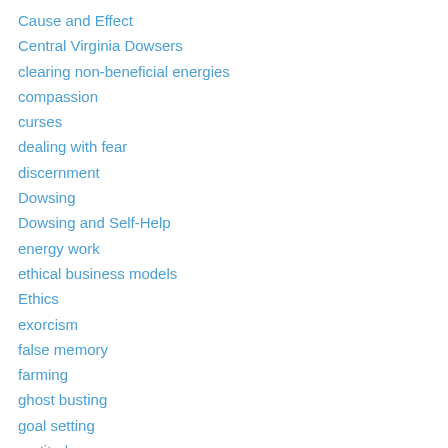Cause and Effect
Central Virginia Dowsers
clearing non-beneficial energies
compassion
curses
dealing with fear
discernment
Dowsing
Dowsing and Self-Help
energy work
ethical business models
Ethics
exorcism
false memory
farming
ghost busting
goal setting
gratitude
grief
habits